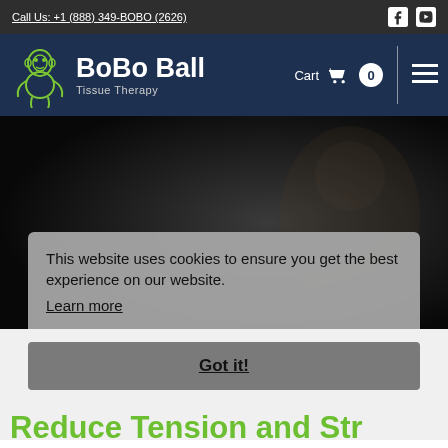Call Us: +1 (888) 349-BOBO (2626)
[Figure (logo): BoBo Ball Tissue Therapy logo with green gorilla icon and white text]
Cart 0
[Figure (screenshot): Dark hero background image showing a person in dim lighting]
This website uses cookies to ensure you get the best experience on our website. Learn more
Got it!
Reduce Tension and Str...